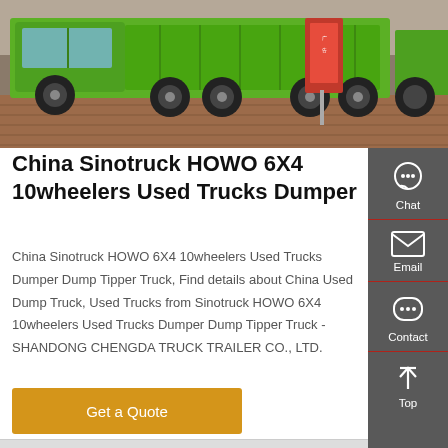[Figure (photo): Green Sinotruck HOWO dump truck parked on brick pavement, with a red promotional sign in the background and another truck partially visible on the right.]
China Sinotruck HOWO 6X4 10wheelers Used Trucks Dumper
China Sinotruck HOWO 6X4 10wheelers Used Trucks Dumper Dump Tipper Truck, Find details about China Used Dump Truck, Used Trucks from Sinotruck HOWO 6X4 10wheelers Used Trucks Dumper Dump Tipper Truck - SHANDONG CHENGDA TRUCK TRAILER CO., LTD.
Get a Quote